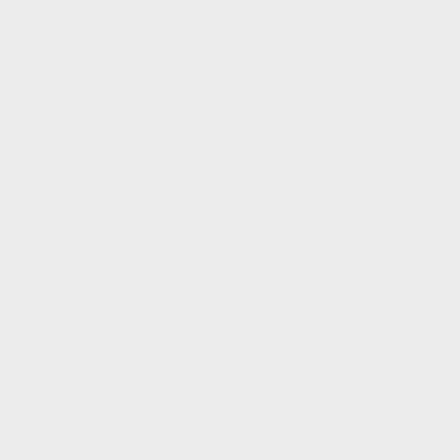Makki ®
Hair Bleach K
Bleach and O
AB 50g - Oxy 1
[Figure (photo): Hair bleach kit product photo showing a white bottle (Oxy Cream) and a dark box (Active Bleaching Powder) by Makki brand]
Standard Price: —
Our Price:   £1
Saving:  £2.
1
add
more detail
Makki ®
Hair Super Bleac